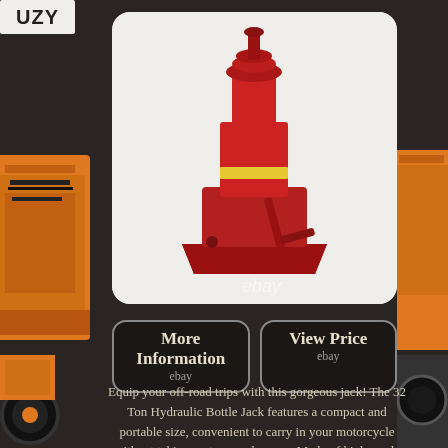[Figure (photo): UZY logo - white text on light background, top left corner]
[Figure (photo): Red 32 Ton Hydraulic Bottle Jack product photo on white/light background with rounded rectangle frame, eBay watermark]
[Figure (photo): Partially visible orange floor jack product image on left side strip]
[Figure (photo): Partially visible orange automotive product and tire image on right side strip]
More Information
ebay
View Price
ebay
Equip your off-road trips with this gorgeous jack! The 32 Ton Hydraulic Bottle Jack features a compact and portable size, convenient to carry in your motorcycle without taking up too much space. Made of high-grade steel material, it is durable, rust-proof and safe to use.